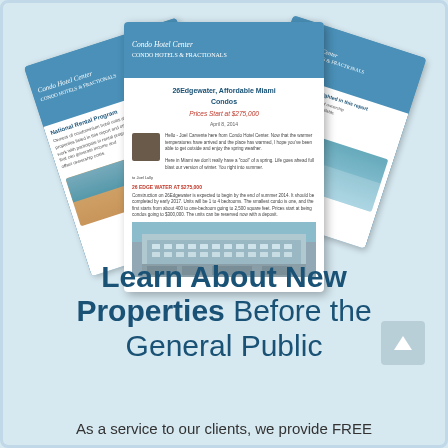[Figure (illustration): Fan arrangement of three real estate newsletter documents with blue headers showing 'Condo Hotel Center' branding. The center document shows '26Edgewater, Affordable Miami Condos' with 'Prices Start at $275,000', a headshot photo, descriptive text, and a condo building image.]
Learn About New Properties Before the General Public
As a service to our clients, we provide FREE